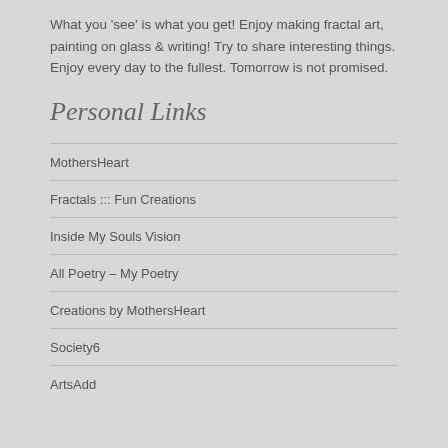What you 'see' is what you get! Enjoy making fractal art, painting on glass & writing! Try to share interesting things. Enjoy every day to the fullest. Tomorrow is not promised.
Personal Links
MothersHeart
Fractals ::: Fun Creations
Inside My Souls Vision
All Poetry – My Poetry
Creations by MothersHeart
Society6
ArtsAdd